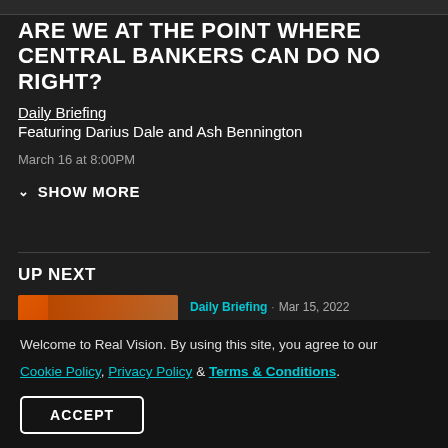ARE WE AT THE POINT WHERE CENTRAL BANKERS CAN DO NO RIGHT?
Daily Briefing
Featuring Darius Dale and Ash Bennington
March 16 at 8:00PM
SHOW MORE
UP NEXT
[Figure (photo): Thumbnail image for Daily Briefing video dated Mar 15, 2022 featuring two men against an orange background with DAILY label]
Daily Briefing · Mar 15, 2022
Will Commodity Prices Drive
Welcome to Real Vision. By using this site, you agree to our Cookie Policy, Privacy Policy & Terms & Conditions.
ACCEPT